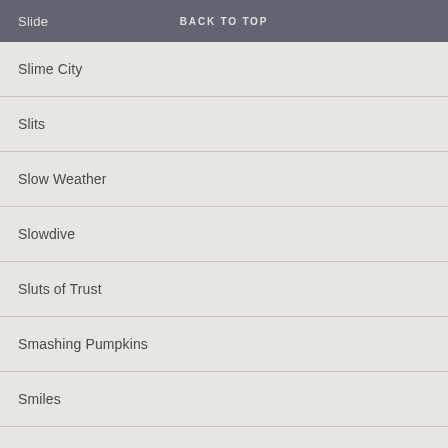Slide   BACK TO TOP
Slime City
Slits
Slow Weather
Slowdive
Sluts of Trust
Smashing Pumpkins
Smiles
Smiths
Smiths Covers
Smittens
Smog
Snapper